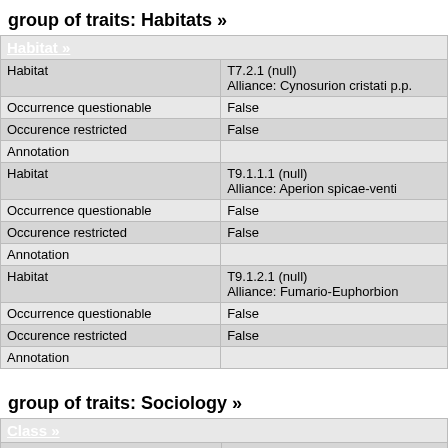group of traits: Habitats »
| Habitat » |  |
| --- | --- |
| Habitat | T7.2.1 (null)
Alliance: Cynosurion cristati p.p. |
| Occurrence questionable | False |
| Occurence restricted | False |
| Annotation |  |
| Habitat | T9.1.1.1 (null)
Alliance: Aperion spicae-venti |
| Occurrence questionable | False |
| Occurence restricted | False |
| Annotation |  |
| Habitat | T9.1.2.1 (null)
Alliance: Fumario-Euphorbion |
| Occurrence questionable | False |
| Occurence restricted | False |
| Annotation |  |
group of traits: Sociology »
| Class » |  |
| --- | --- |
| English circumscription | 06.6 (Chickweed and other field weed commu...
Class: Stellarietea mediae |